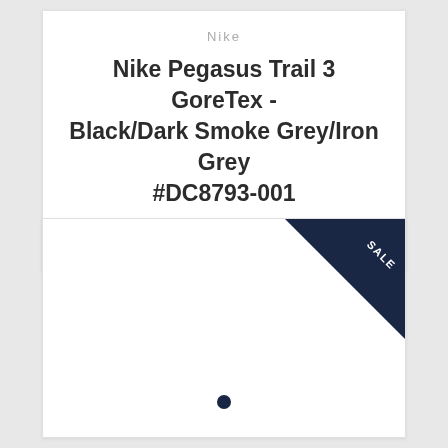Nike
Nike Pegasus Trail 3 GoreTex - Black/Dark Smoke Grey/Iron Grey #DC8793-001
$1,490  $1,590
[Figure (screenshot): Product image area with a navy corner sale badge reading SALE and a single dot pagination indicator at the bottom center]